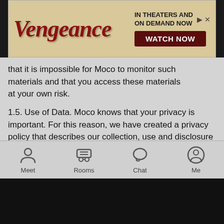[Figure (other): Advertisement banner for 'Vengeance' movie with logo, tagline 'IN THEATERS AND ON DEMAND NOW' and 'WATCH NOW' button]
that it is impossible for Moco to monitor such materials and that you access these materials at your own risk.
1.5. Use of Data. Moco knows that your privacy is important. For this reason, we have created a privacy policy that describes our collection, use and disclosure practices regarding any personal information that you provide to us. Our privacy policy is available at https://www.mocospace.com/link/privacy.jsp.
2. Registration and Eligibility.
2.1. Registering as a Member. In order to access certain features of the Services, you may be required to become a Member. For purposes of the Terms, a "Member" is a user who has registered an account on the Website or the App ("Account"), has a valid social networking service ("SNS") through which the Member has connected to the Services (each such account, a "Third-Party Account"), or has an account with the provider of the App for the
[Figure (other): Bottom navigation bar with Meet, Rooms, Chat, and Me icons]